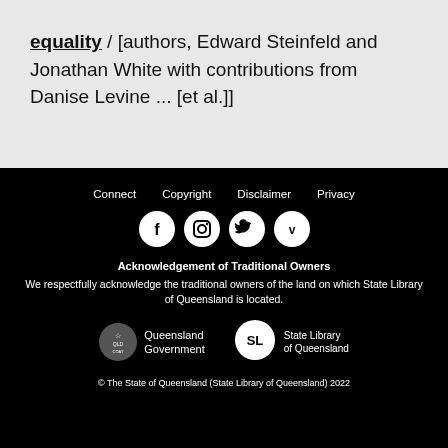equality / [authors, Edward Steinfeld and Jonathan White with contributions from Danise Levine ... [et al.]]
Connect  Copyright  Disclaimer  Privacy
[Figure (illustration): Four social media icons in white circles: Facebook, Instagram, Twitter, Vimeo]
Acknowledgement of Traditional Owners
We respectfully acknowledge the traditional owners of the land on which State Library of Queensland is located.
[Figure (logo): Queensland Government coat of arms logo with text 'Queensland Government']
[Figure (logo): State Library of Queensland logo - white speech bubble with 'SL' and text 'State Library of Queensland']
© The State of Queensland (State Library of Queensland) 2022